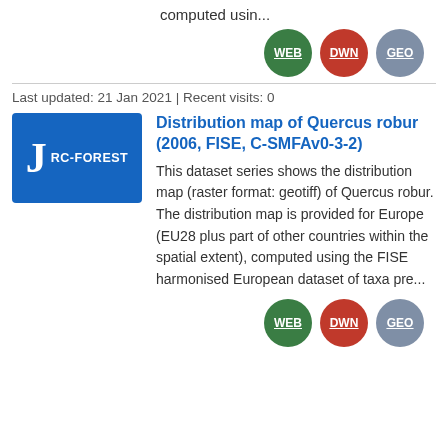computed usin...
[Figure (other): Three badge buttons: WEB (green), DWN (red), GEO (grey-blue)]
Last updated: 21 Jan 2021 | Recent visits: 0
[Figure (other): Blue icon box with letter J and text RC-FOREST]
Distribution map of Quercus robur (2006, FISE, C-SMFAv0-3-2)
This dataset series shows the distribution map (raster format: geotiff) of Quercus robur. The distribution map is provided for Europe (EU28 plus part of other countries within the spatial extent), computed using the FISE harmonised European dataset of taxa pre...
[Figure (other): Three badge buttons: WEB (green), DWN (red), GEO (grey-blue)]